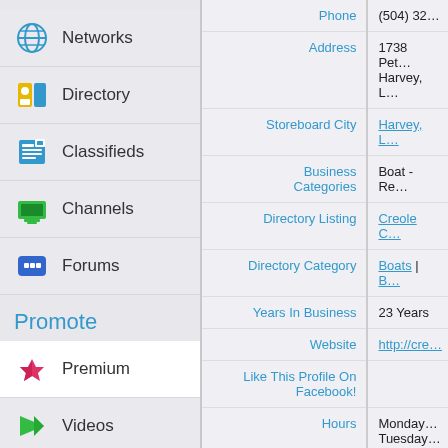Networks
Directory
Classifieds
Channels
Forums
Promote
Premium
Videos
Blogs
Images
| Label | Value |
| --- | --- |
| Phone | (504) 32... |
| Address | 1738 Pet...
Harvey, L... |
| Storeboard City | Harvey, L... |
| Business Categories | Boat - Re... |
| Directory Listing | Creole C... |
| Directory Category | Boats | B... |
| Years In Business | 23 Years |
| Website | http://cre... |
| Like This Profile On Facebook! |  |
| Hours | Monday...
Tuesday...
Wednes...
Thursda...
Friday
Saturda...
Sunday... |